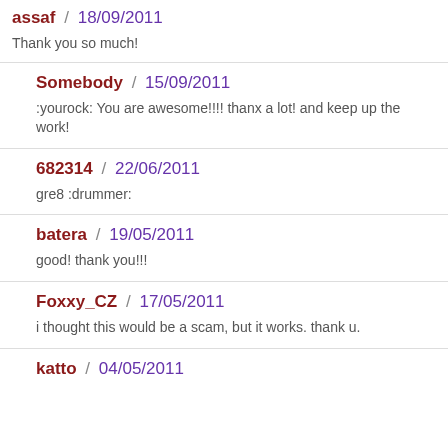assaf / 18/09/2011
Thank you so much!
Somebody / 15/09/2011
:yourock: You are awesome!!!! thanx a lot! and keep up the work!
682314 / 22/06/2011
gre8 :drummer:
batera / 19/05/2011
good! thank you!!!
Foxxy_CZ / 17/05/2011
i thought this would be a scam, but it works. thank u.
katto / 04/05/2011